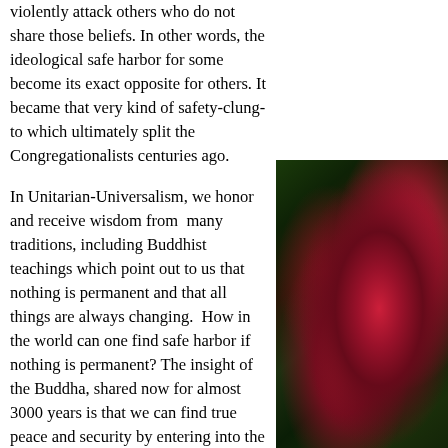violently attack others who do not share those beliefs. In other words, the ideological safe harbor for some become its exact opposite for others. It became that very kind of safety-clung-to which ultimately split the Congregationalists centuries ago.
In Unitarian-Universalism, we honor and receive wisdom from many traditions, including Buddhist teachings which point out to us that nothing is permanent and that all things are always changing. How in the world can one find safe harbor if nothing is permanent? The insight of the Buddha, shared now for almost 3000 years is that we can find true peace and security by entering into the present moment with all of its constant changes. Not unlike that is the teaching of the Christ who, when asked about the coming of his kingdom observed: The Kingdom is within you. The search for an
[Figure (photo): A close-up photo of a rose with deep red/pink petals against dark green foliage background]
The rose that w... garbage. After... in...